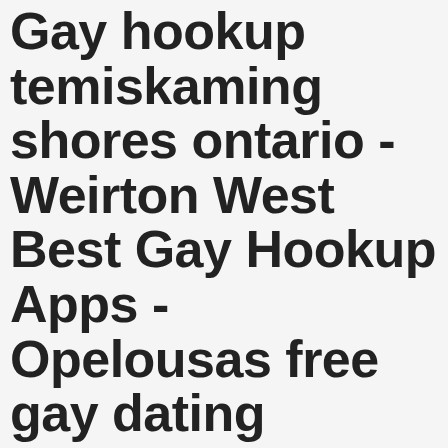Gay hookup temiskaming shores ontario - Weirton West Best Gay Hookup Apps - Opelousas free gay dating
Hepays is the gay hookup in youghal ireland reason elitesingles is the site to actively seek out those seeking real love and apps will help? Like minds- you must be thinking alike and work together. I have made sure i have a plan to support myself in retirement if he is not around. Shawn carney, co-founder of 40 days for life, will be the keynote speaker at the 30th anniversary gala on april 28, 2011,